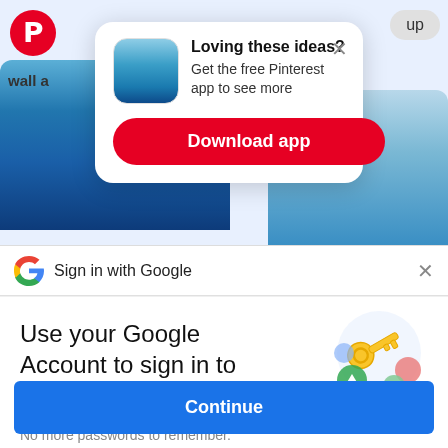[Figure (screenshot): Pinterest app background with blue ocean/abstract images and partial UI]
[Figure (infographic): Pinterest popup modal: Loving these ideas? Get the free Pinterest app to see more. Download app button.]
Loving these ideas?
Get the free Pinterest app to see more
Download app
Sign in with Google
Use your Google Account to sign in to Pinterest
No more passwords to remember. Signing in is fast, simple and secure.
Continue